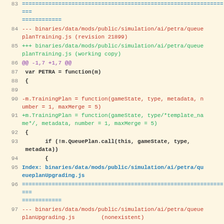83  ================================================================
84  --- binaries/data/mods/public/simulation/ai/petra/queueplanTraining.js (revision 21899)
85  +++ binaries/data/mods/public/simulation/ai/petra/queueplanTraining.js (working copy)
86  @@ -1,7 +1,7 @@
87   var PETRA = function(m)
88   {
89
90  -m.TrainingPlan = function(gameState, type, metadata, number = 1, maxMerge = 5)
91  +m.TrainingPlan = function(gameState, type/*template_name*/, metadata, number = 1, maxMerge = 5)
92   {
93          if (!m.QueuePlan.call(this, gameState, type, metadata))
94          {
95  Index: binaries/data/mods/public/simulation/ai/petra/queueplanUpgrading.js
96  ================================================================
97  --- binaries/data/mods/public/simulation/ai/petra/queueplanUpgrading.js          (nonexistent)
98  +++ binaries/data/mods/public/simulation/ai/petra/queueplanUpgrading.js          (working copy)
99  @@ -0,0 +1,67 @@